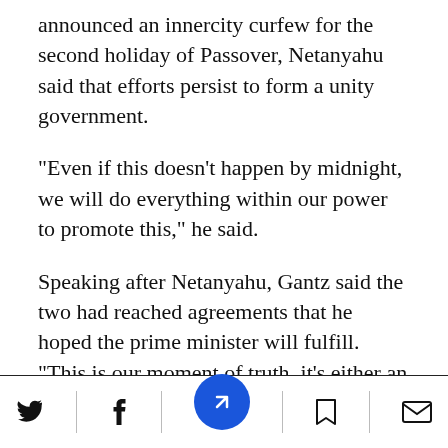announced an innercity curfew for the second holiday of Passover, Netanyahu said that efforts persist to form a unity government.
"Even if this doesn't happen by midnight, we will do everything within our power to promote this," he said.
Speaking after Netanyahu, Gantz said the two had reached agreements that he hoped the prime minister will fulfill. "This is our moment of truth, it's either an emergency national unity government or a redundant fourth election."
Social share bar with Twitter, Facebook, bookmark, email icons and navigation button